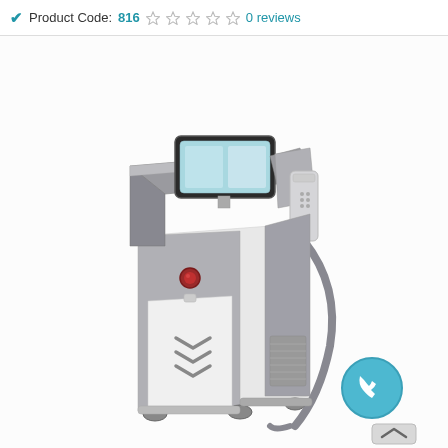Product Code: 816  0 reviews
[Figure (photo): A gray and white medical/aesthetic laser hair removal machine (diode laser) on wheels, with a touchscreen display on top, a handpiece attached to a flexible cord on the right side, ventilation grille on the lower right, red indicator button on the front, and decorative chevron arrows on the lower front panel. The machine is shown at a 3/4 angle on a white background. A blue circular phone/call button icon is overlaid in the lower right area, and a scroll-to-top button with an upward chevron is in the bottom right corner.]